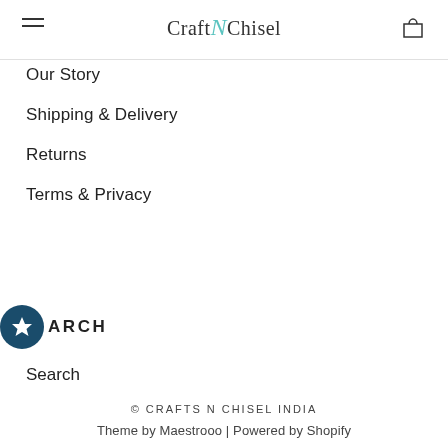CraftNChisel
Our Story
Shipping & Delivery
Returns
Terms & Privacy
SEARCH
Search
© CRAFTS N CHISEL INDIA
Theme by Maestrooo | Powered by Shopify